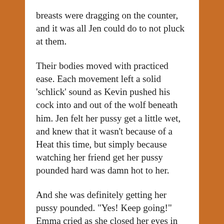breasts were dragging on the counter, and it was all Jen could do to not pluck at them.
Their bodies moved with practiced ease. Each movement left a solid 'schlick' sound as Kevin pushed his cock into and out of the wolf beneath him. Jen felt her pussy get a little wet, and knew that it wasn't because of a Heat this time, but simply because watching her friend get her pussy pounded hard was damn hot to her.
And she was definitely getting her pussy pounded. "Yes! Keep going!" Emma cried as she closed her eyes in rapture. Jen could only watch as Kevin kept pushing his cock in harder seemingly with every thrust. "Oh god, you're so deep, fuck me, dammit," Emma said quietly when